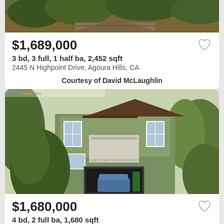[Figure (photo): Top portion of a house exterior with hillside and trees in background (cropped top)]
$1,689,000
3 bd, 3 full, 1 half ba, 2,452 sqft
2445 N Highpoint Drive, Agoura Hills, CA
Courtesy of David McLaughlin
[Figure (photo): Green two-story house with garage and car visible, trees surrounding the property, porch/balcony area on second floor]
$1,680,000
4 bd, 2 full ba, 1,680 sqft
1479 Olympus Ave, BERKELEY, CA